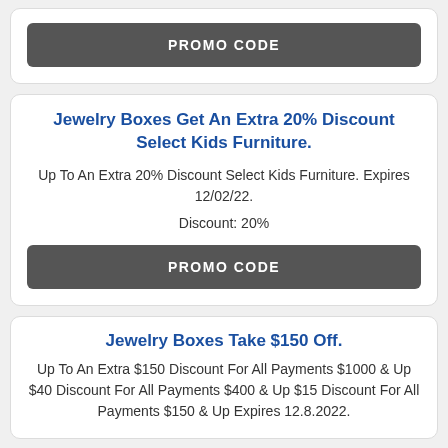PROMO CODE
Jewelry Boxes Get An Extra 20% Discount Select Kids Furniture.
Up To An Extra 20% Discount Select Kids Furniture. Expires 12/02/22.
Discount: 20%
PROMO CODE
Jewelry Boxes Take $150 Off.
Up To An Extra $150 Discount For All Payments $1000 & Up $40 Discount For All Payments $400 & Up $15 Discount For All Payments $150 & Up Expires 12.8.2022.